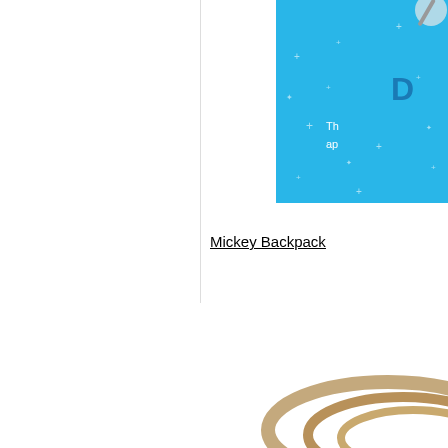[Figure (screenshot): Partial view of a webpage showing a blue promotional card on the right side with stars decoration, letter D visible, and partial text 'Th ap'. White columns with a vertical divider line on the left.]
Mickey Backpack
[Figure (photo): Partial view of ring-shaped product (rings/bangles) in gold/brown tones at bottom right of page.]
Privacy & Cookies: This site uses cookies. By continuing to use this website, you agree to their use.
To find out more, including how to control cookies, see here: Cookie Policy
Close and accept